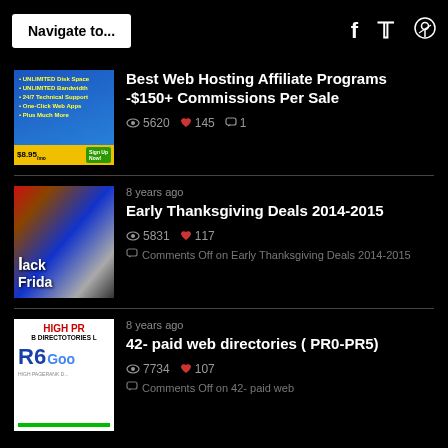Navigate to... [social icons: f, twitter, pinterest]
[Figure (screenshot): Web hosting advertisement thumbnail with blue background, bullet points for Unlimited Disk Space, Unlimited Bandwidth, 24/7 Technical Support, One-Click Web Apps, Plus Much More, and $8.95 price with Sign Up Now button]
Best Web Hosting Affiliate Programs -$150+ Commissions Per Sale
5620 views  145 likes  1 comment
[Figure (photo): Black Friday themed image with Black Frida text visible and colorful background]
8 years ago
Early Thanksgiving Deals 2014-2015
5831 views  117 likes
Comments Off on Early Thanksgiving Deals 2014-2015
[Figure (screenshot): HIGH PR Web Directories thumbnail with R6 and Google logo text on white background with red HIGH PR text and green bar at bottom]
8 years ago
42- paid web directories ( PR0-PR5)
7734 views  107 likes
Comments Off on 42- paid web